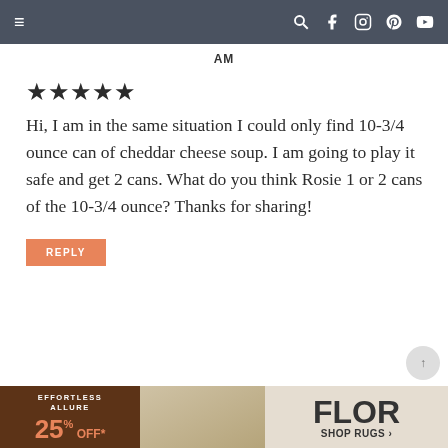Navigation bar with menu, search, facebook, instagram, pinterest, youtube icons
AM
★★★★★
Hi, I am in the same situation I could only find 10-3/4 ounce can of cheddar cheese soup. I am going to play it safe and get 2 cans. What do you think Rosie 1 or 2 cans of the 10-3/4 ounce? Thanks for sharing!
REPLY
[Figure (screenshot): FLOR rugs advertisement banner with dark brown background showing 25% off, a sofa photo, and FLOR SHOP RUGS text]